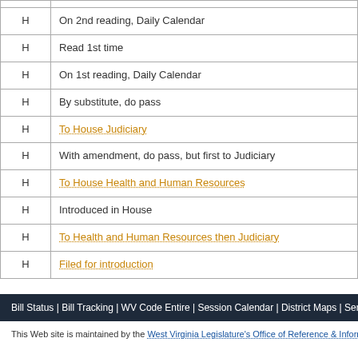|  |  |
| --- | --- |
| H | On 2nd reading, Daily Calendar |
| H | Read 1st time |
| H | On 1st reading, Daily Calendar |
| H | By substitute, do pass |
| H | To House Judiciary |
| H | With amendment, do pass, but first to Judiciary |
| H | To House Health and Human Resources |
| H | Introduced in House |
| H | To Health and Human Resources then Judiciary |
| H | Filed for introduction |
Bill Status | Bill Tracking | WV Code Entire | Session Calendar | District Maps | Sena
This Web site is maintained by the West Virginia Legislature's Office of Reference & Information. | Ter